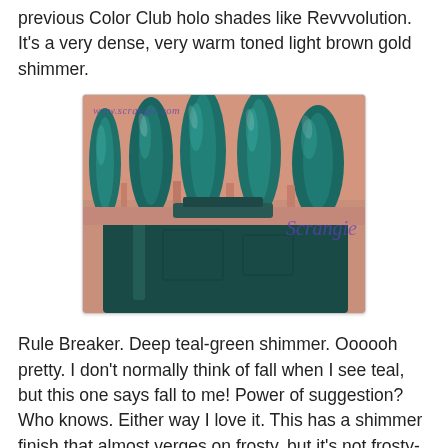previous Color Club holo shades like Revvvolution. It's a very dense, very warm toned light brown gold shimmer.
[Figure (photo): Close-up photo of hand with deep teal-green shimmer nail polish applied, with a dark teal nail polish bottle visible below the nails. Watermark 'www.scrangie.com' and 'Scrangie' in purple italic text.]
Rule Breaker. Deep teal-green shimmer. Oooooh pretty. I don't normally think of fall when I see teal, but this one says fall to me! Power of suggestion? Who knows. Either way I love it. This has a shimmer finish that almost verges on frosty, but it's not frosty- just a really fine metallic shimmer.
[Figure (photo): Partial photo at bottom of page showing nails with shimmer polish, with watermark visible.]